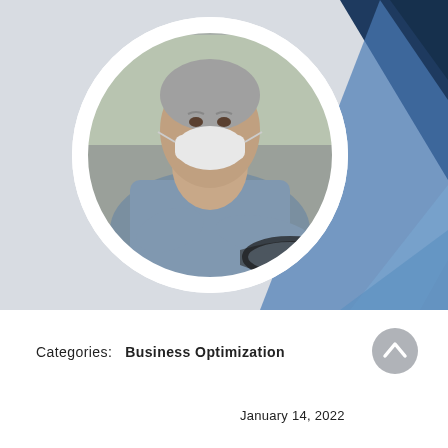[Figure (photo): Cover image with geometric blue chevron/triangle design on gray background and circular portrait photo of a man wearing a white face mask, seated in a vehicle wearing a blue shirt, looking at the camera over his shoulder]
Categories:   Business Optimization
January 14, 2022